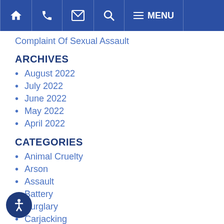Navigation bar with home, phone, email, search, and menu icons
Complaint Of Sexual Assault
ARCHIVES
August 2022
July 2022
June 2022
May 2022
April 2022
CATEGORIES
Animal Cruelty
Arson
Assault
Battery
Burglary
Carjacking
Child Abuse and Neglect
Criminal Defense
Cybercrime